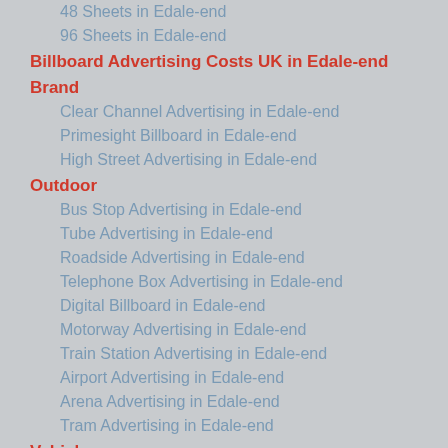48 Sheets in Edale-end
96 Sheets in Edale-end
Billboard Advertising Costs UK in Edale-end
Brand
Clear Channel Advertising in Edale-end
Primesight Billboard in Edale-end
High Street Advertising in Edale-end
Outdoor
Bus Stop Advertising in Edale-end
Tube Advertising in Edale-end
Roadside Advertising in Edale-end
Telephone Box Advertising in Edale-end
Digital Billboard in Edale-end
Motorway Advertising in Edale-end
Train Station Advertising in Edale-end
Airport Advertising in Edale-end
Arena Advertising in Edale-end
Tram Advertising in Edale-end
Vehicle
Taxi Advertising in Edale-end
Bus Advertising in Edale-end
Truck Advertising in Edale-end
Mobile Ad Vans in Edale-end